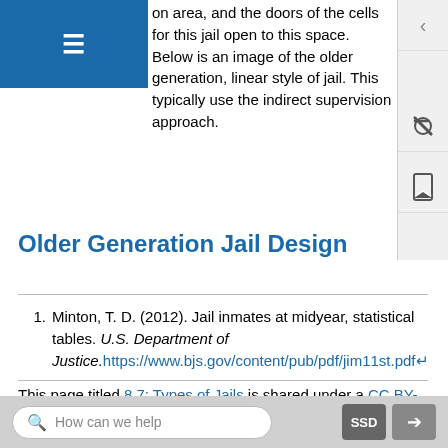on area, and the doors of the cells for this jail open to this space. Below is an image of the older generation, linear style of jail. This typically uses the indirect supervision approach.
Older Generation Jail Design
Minton, T. D. (2012). Jail inmates at midyear, statistical tables. U.S. Department of Justice. https://www.bjs.gov/content/pub/pdf/jim11st.pdf
This page titled 8.7: Types of Jails is shared under a CC BY-SA license and was authored, remixed, and/or
How can we help